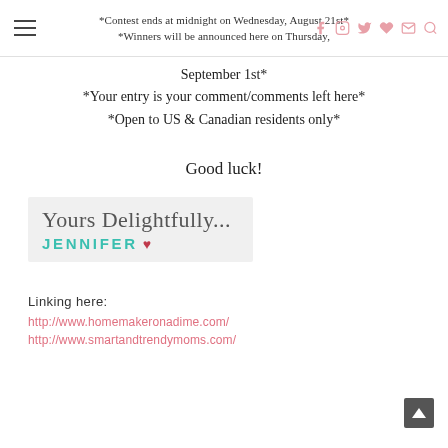*Contest ends at midnight on Wednesday, August 21st* *Winners will be announced here on Thursday, September 1st*
*Your entry is your comment/comments left here*
*Open to US & Canadian residents only*
Good luck!
[Figure (illustration): Signature graphic with cursive text 'Yours Delightfully...' and 'JENNIFER' with a heart, on a light grey background]
Linking here:
http://www.homemakeronadime.com/
http://www.smartandtrendymoms.com/